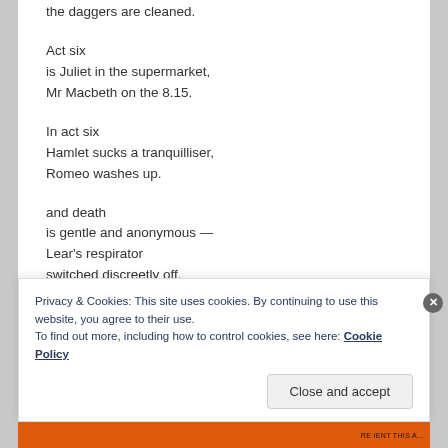the daggers are cleaned.
Act six
is Juliet in the supermarket,
Mr Macbeth on the 8.15.
In act six
Hamlet sucks a tranquilliser,
Romeo washes up.
and death
is gentle and anonymous —
Lear's respirator
switched discreetly off.
Privacy & Cookies: This site uses cookies. By continuing to use this website, you agree to their use.
To find out more, including how to control cookies, see here: Cookie Policy
Close and accept